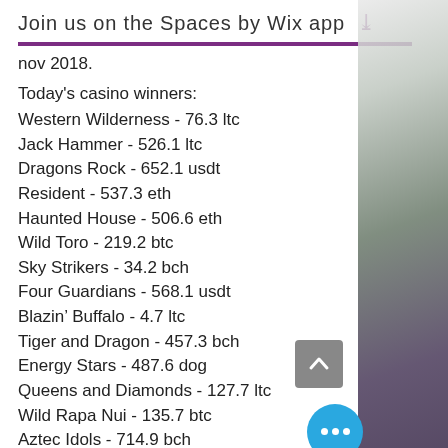Join us on the Spaces by Wix app
nov 2018.
Today's casino winners:
Western Wilderness - 76.3 ltc
Jack Hammer - 526.1 ltc
Dragons Rock - 652.1 usdt
Resident - 537.3 eth
Haunted House - 506.6 eth
Wild Toro - 219.2 btc
Sky Strikers - 34.2 bch
Four Guardians - 568.1 usdt
Blazin’ Buffalo - 4.7 ltc
Tiger and Dragon - 457.3 bch
Energy Stars - 487.6 dog
Queens and Diamonds - 127.7 ltc
Wild Rapa Nui - 135.7 btc
Aztec Idols - 714.9 bch
Fast Lane - 722.5 usdt